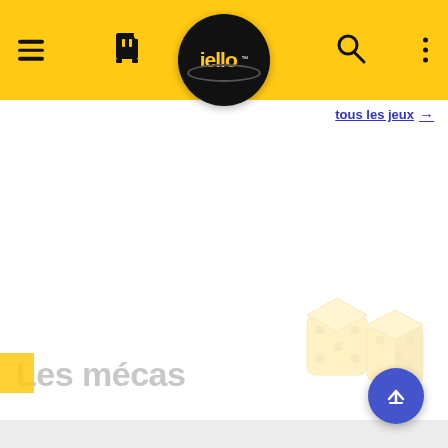[Figure (screenshot): IELLO board game website mobile screenshot showing yellow navigation bar with hamburger menu, Twitch icon, IELLO logo, search icon, three-dots menu, 'tous les jeux' link, 'Les mécas' section header with dice watermark illustration, and a scroll-to-top button]
tous les jeux →
Les mécas